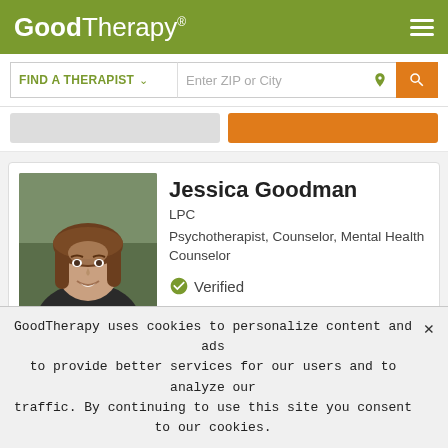GoodTherapy®
FIND A THERAPIST  ∨   Enter ZIP or City
[Figure (photo): Portrait photo of Jessica Goodman, a woman with shoulder-length brown hair, smiling, wearing dark clothing, outdoors background]
Jessica Goodman
LPC
Psychotherapist, Counselor, Mental Health Counselor
✔ Verified
Washington, District of Columbia 20008
GoodTherapy uses cookies to personalize content and ads to provide better services for our users and to analyze our traffic. By continuing to use this site you consent to our cookies.